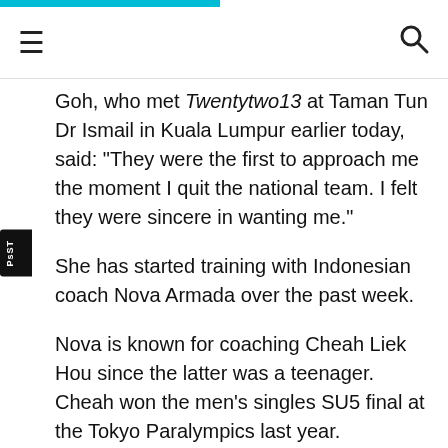≡  🔍
Goh, who met Twentytwo13 at Taman Tun Dr Ismail in Kuala Lumpur earlier today, said: "They were the first to approach me the moment I quit the national team. I felt they were sincere in wanting me."
She has started training with Indonesian coach Nova Armada over the past week.
Nova is known for coaching Cheah Liek Hou since the latter was a teenager. Cheah won the men's singles SU5 final at the Tokyo Paralympics last year.
"I would like to focus on my training first. I hope to compete in March," said Goh.